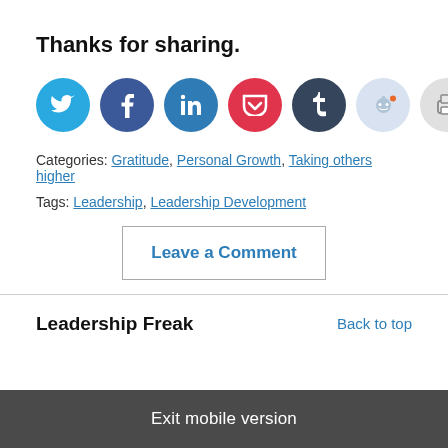Thanks for sharing.
[Figure (infographic): Row of 8 social sharing icon circles: Twitter (blue), Facebook (blue), LinkedIn (blue), Pocket (red), Tumblr (dark navy), Reddit (light blue), Print (light gray), Email (gray)]
Categories: Gratitude, Personal Growth, Taking others higher
Tags: Leadership, Leadership Development
Leave a Comment
Leadership Freak
Back to top
Exit mobile version